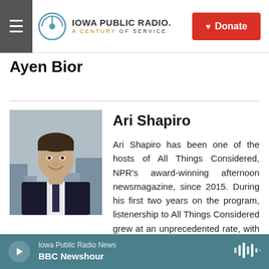Iowa Public Radio — A Century of Service
Ayen Bior
[Figure (photo): Headshot of Ari Shapiro, a man in a dark suit and tie, smiling, with a city skyline visible in the background.]
Ari Shapiro
Ari Shapiro has been one of the hosts of All Things Considered, NPR's award-winning afternoon newsmagazine, since 2015. During his first two years on the program, listenership to All Things Considered grew at an unprecedented rate, with more people tuning in during a typical quarter hour than any other
Iowa Public Radio News — BBC Newshour